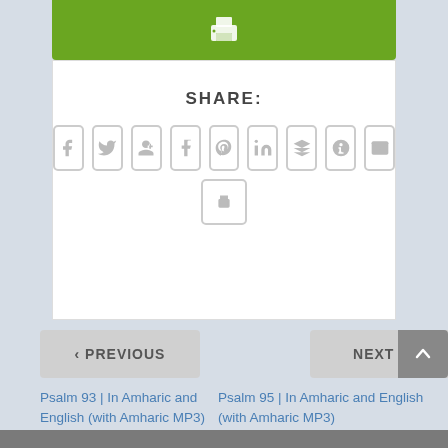[Figure (screenshot): Green button bar with white printer icon at top]
SHARE:
[Figure (infographic): Row of 9 social sharing icon buttons (Facebook, Twitter, Google+, Tumblr, Pinterest, LinkedIn, Buffer, StumbleUpon, Email) and a print button below]
< PREVIOUS
NEXT >
Psalm 93 | In Amharic and English (with Amharic MP3)
Psalm 95 | In Amharic and English (with Amharic MP3)
RELATED POSTS
Share This